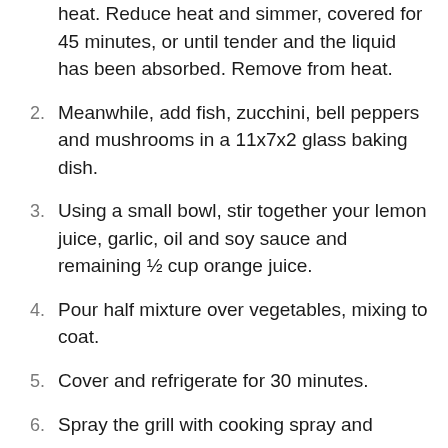heat. Reduce heat and simmer, covered for 45 minutes, or until tender and the liquid has been absorbed. Remove from heat.
2. Meanwhile, add fish, zucchini, bell peppers and mushrooms in a 11x7x2 glass baking dish.
3. Using a small bowl, stir together your lemon juice, garlic, oil and soy sauce and remaining ½ cup orange juice.
4. Pour half mixture over vegetables, mixing to coat.
5. Cover and refrigerate for 30 minutes.
6. Spray the grill with cooking spray and